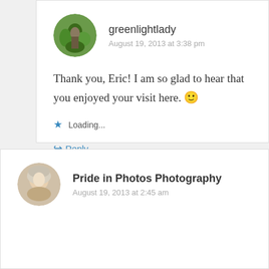greenlightlady
August 19, 2013 at 3:38 pm
Thank you, Eric! I am so glad to hear that you enjoyed your visit here. 🙂
Loading...
Reply
Pride in Photos Photography
August 19, 2013 at 2:45 am